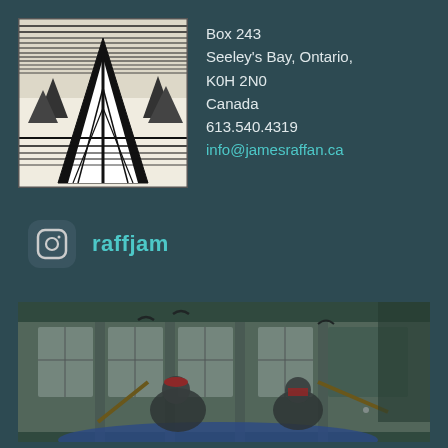[Figure (illustration): Black and white woodcut-style illustration of canoe bow on water with mountain/landscape in background]
Box 243
Seeley's Bay, Ontario,
K0H 2N0
Canada
613.540.4319
info@jamesraffan.ca
[Figure (logo): Instagram icon - rounded square with camera symbol]
raffjam
[Figure (photo): Photo of people paddling in a canoe near a building with windows, birds flying overhead]